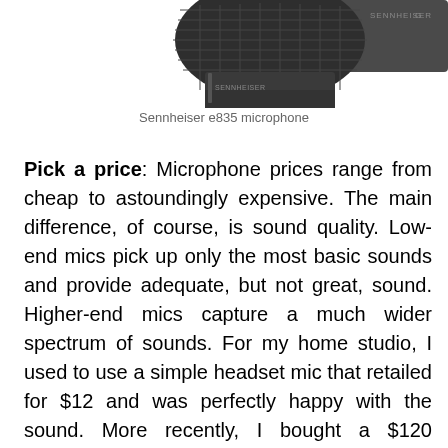[Figure (photo): Partial image of a Sennheiser e835 microphone — dark grey handheld dynamic microphone shown from below, with mesh grille at top and logo visible on body]
Sennheiser e835 microphone
Pick a price: Microphone prices range from cheap to astoundingly expensive. The main difference, of course, is sound quality. Low-end mics pick up only the most basic sounds and provide adequate, but not great, sound. Higher-end mics capture a much wider spectrum of sounds. For my home studio, I used to use a simple headset mic that retailed for $12 and was perfectly happy with the sound. More recently, I bought a $120 Sennheiser e835 directional microphone, and I just love how much richer my voice sounds. Ultimately, you need to decide what sound you want for your podcast.